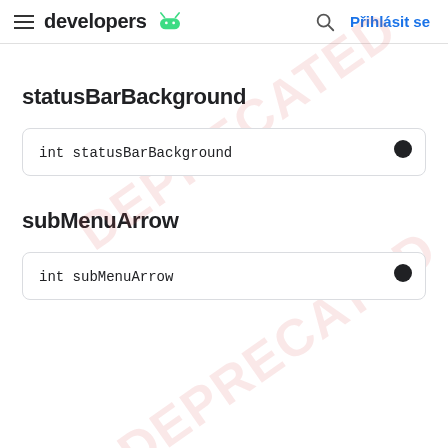developers | Přihlásit se
statusBarBackground
int statusBarBackground
subMenuArrow
int subMenuArrow